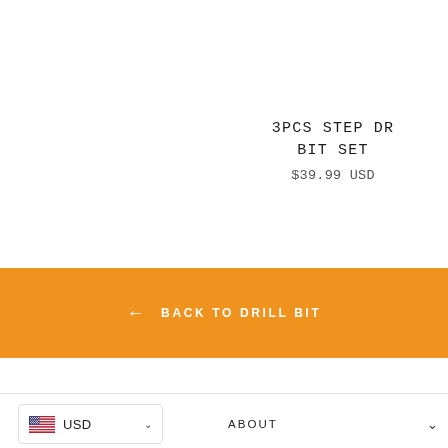3PCS STEP DR BIT SET
$39.99 USD
← BACK TO DRILL BIT
USD
ABOUT